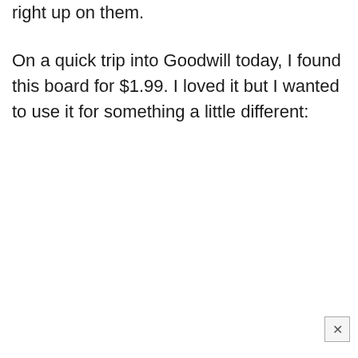right up on them.
On a quick trip into Goodwill today, I found this board for $1.99. I loved it but I wanted to use it for something a little different: